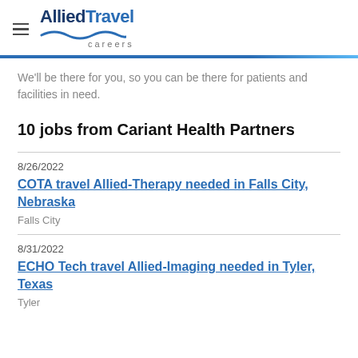Allied Travel Careers
We'll be there for you, so you can be there for patients and facilities in need.
10 jobs from Cariant Health Partners
8/26/2022
COTA travel Allied-Therapy needed in Falls City, Nebraska
Falls City
8/31/2022
ECHO Tech travel Allied-Imaging needed in Tyler, Texas
Tyler